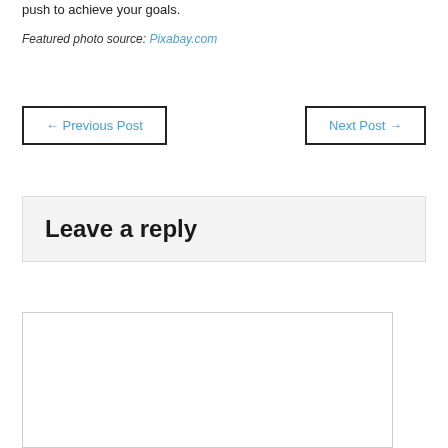push to achieve your goals.
Featured photo source: Pixabay.com
← Previous Post   Next Post →
Leave a reply
[Figure (other): Empty comment text area input box]